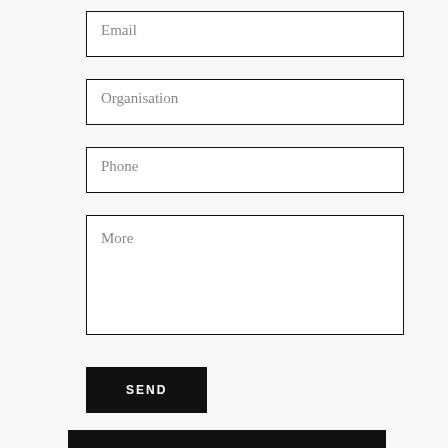Email
Organisation
Phone
More
SEND